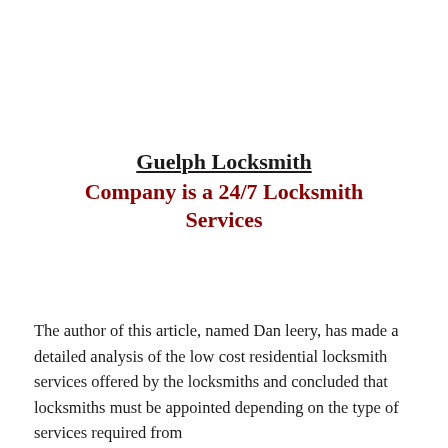Guelph Locksmith Company is a 24/7 Locksmith Services
The author of this article, named Dan leery, has made a detailed analysis of the low cost residential locksmith services offered by the locksmiths and concluded that locksmiths must be appointed depending on the type of services required from